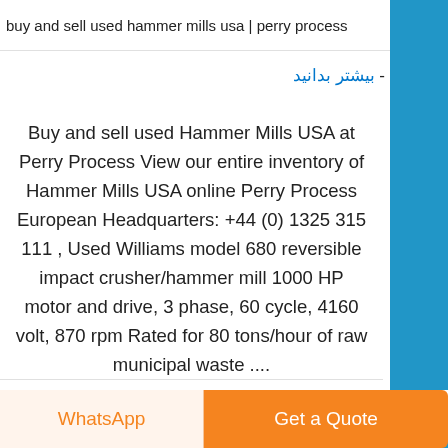buy and sell used hammer mills usa | perry process
- بیشتر بدانید
Buy and sell used Hammer Mills USA at Perry Process View our entire inventory of Hammer Mills USA online Perry Process European Headquarters: +44 (0) 1325 315 111 , Used Williams model 680 reversible impact crusher/hammer mill 1000 HP motor and drive, 3 phase, 60 cycle, 4160 volt, 870 rpm Rated for 80 tons/hour of raw municipal waste ....
WhatsApp | Get a Quote